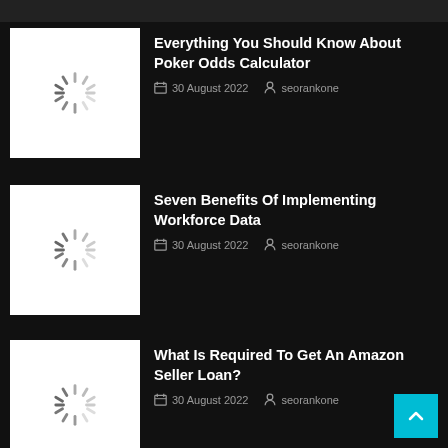Everything You Should Know About Poker Odds Calculator
30 August 2022   seorankone
[Figure (screenshot): Thumbnail image placeholder with loading spinner]
Seven Benefits Of Implementing Workforce Data
30 August 2022   seorankone
[Figure (screenshot): Thumbnail image placeholder with loading spinner]
What Is Required To Get An Amazon Seller Loan?
30 August 2022   seorankone
[Figure (screenshot): Thumbnail image placeholder with loading spinner]